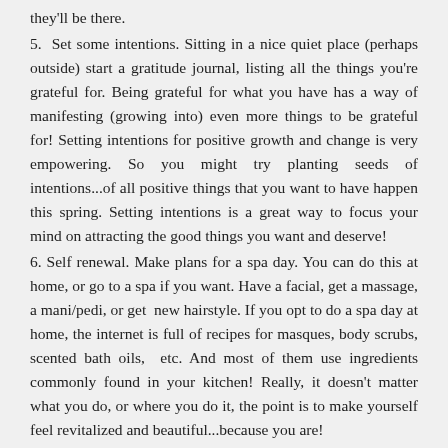they'll be there.
5. Set some intentions. Sitting in a nice quiet place (perhaps outside) start a gratitude journal, listing all the things you're grateful for. Being grateful for what you have has a way of manifesting (growing into) even more things to be grateful for! Setting intentions for positive growth and change is very empowering. So you might try planting seeds of intentions...of all positive things that you want to have happen this spring. Setting intentions is a great way to focus your mind on attracting the good things you want and deserve!
6. Self renewal. Make plans for a spa day. You can do this at home, or go to a spa if you want. Have a facial, get a massage, a mani/pedi, or get new hairstyle. If you opt to do a spa day at home, the internet is full of recipes for masques, body scrubs, scented bath oils, etc. And most of them use ingredients commonly found in your kitchen! Really, it doesn't matter what you do, or where you do it, the point is to make yourself feel revitalized and beautiful...because you are!
Spring has sprung and it's glorious...however you choose to